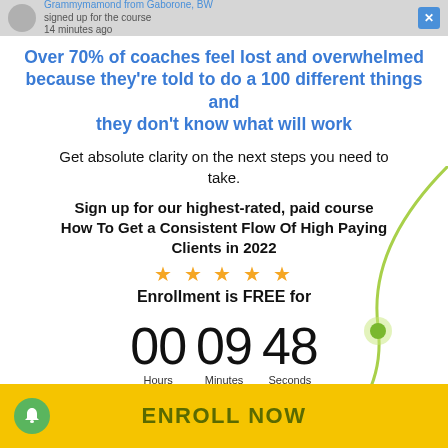Grammymamond from Gaborone, BW signed up for the course 14 minutes ago
Over 70% of coaches feel lost and overwhelmed because they're told to do a 100 different things and they don't know what will work
Get absolute clarity on the next steps you need to take.
Sign up for our highest-rated, paid course How To Get a Consistent Flow Of High Paying Clients in 2022
★ ★ ★ ★ ★
Enrollment is FREE for
00 Hours  09 Minutes  48 Seconds
ENROLL NOW